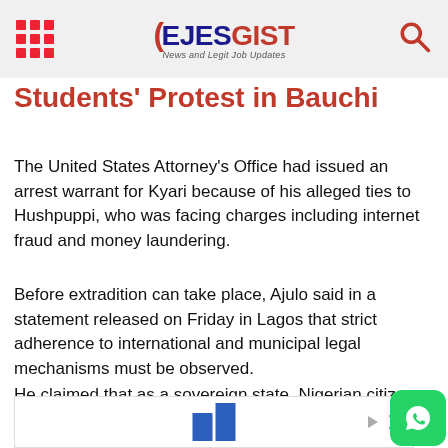EJESGIST — News and Legit Job Updates
Students' Protest in Bauchi
The United States Attorney's Office had issued an arrest warrant for Kyari because of his alleged ties to Hushpuppi, who was facing charges including internet fraud and money laundering.
Before extradition can take place, Ajulo said in a statement released on Friday in Lagos that strict adherence to international and municipal legal mechanisms must be observed.
He claimed that as a sovereign state, Nigerian citizens could not be expelled or extradited without strict adherence to the Constitution and international protocols.
[Figure (screenshot): Advertisement banner at the bottom of the page with a blue bar graphic and ad controls (play/close buttons)]